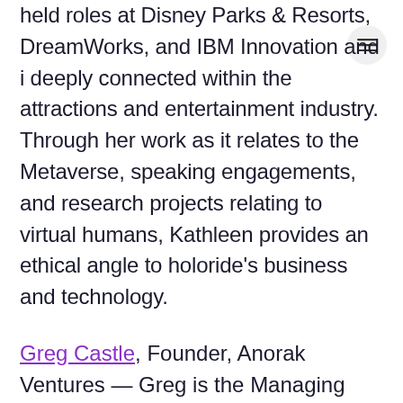held roles at Disney Parks & Resorts, DreamWorks, and IBM Innovation and i deeply connected within the attractions and entertainment industry. Through her work as it relates to the Metaverse, speaking engagements, and research projects relating to virtual humans, Kathleen provides an ethical angle to holoride's business and technology.
Greg Castle, Founder, Anorak Ventures — Greg is the Managing Partner of Anorak Ventures, a seed-stage venture capital firm focused on emerging technology. Based in Silicon Valley, the firm has 42 portfolio